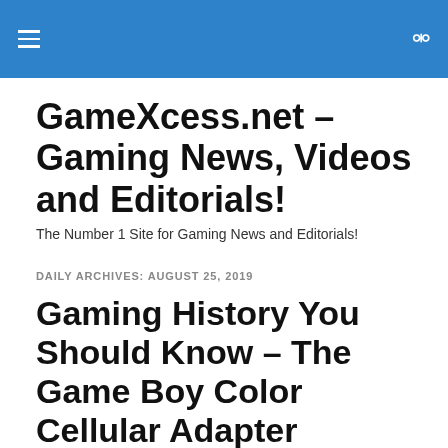GameXcess.net – Gaming News, Videos and Editorials!
The Number 1 Site for Gaming News and Editorials!
DAILY ARCHIVES: AUGUST 25, 2019
Gaming History You Should Know – The Game Boy Color Cellular Adapter
It's no secret more advanced features regularly made their way into Nintendo hardware in its home country of Japan,